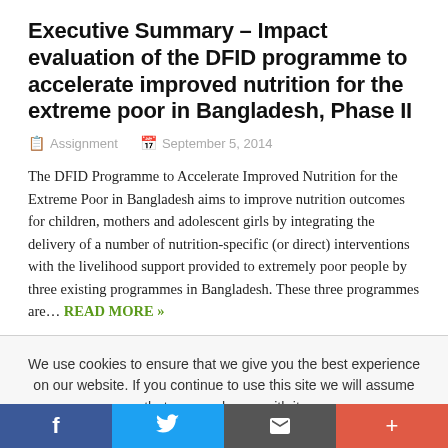Executive Summary – Impact evaluation of the DFID programme to accelerate improved nutrition for the extreme poor in Bangladesh, Phase II
Assignment   September 5, 2014
The DFID Programme to Accelerate Improved Nutrition for the Extreme Poor in Bangladesh aims to improve nutrition outcomes for children, mothers and adolescent girls by integrating the delivery of a number of nutrition-specific (or direct) interventions with the livelihood support provided to extremely poor people by three existing programmes in Bangladesh. These three programmes are… READ MORE »
We use cookies to ensure that we give you the best experience on our website. If you continue to use this site we will assume that you are happy with it.
OK   READ MORE
f   [twitter]   [email]   +